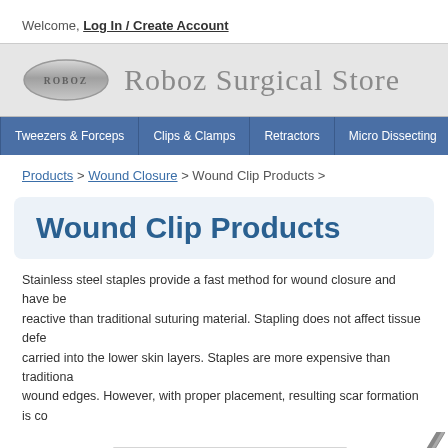Welcome, Log In / Create Account
[Figure (logo): Roboz Surgical Store logo with oval emblem and text]
Tweezers & Forceps | Clips & Clamps | Retractors | Micro Dissecting | Scis...
Products > Wound Closure > Wound Clip Products >
Wound Clip Products
Stainless steel staples provide a fast method for wound closure and have be... reactive than traditional suturing material. Stapling does not affect tissue defe... carried into the lower skin layers. Staples are more expensive than traditiona... wound edges. However, with proper placement, resulting scar formation is co...
[Figure (photo): Wound clip / stapler product image on the left side]
[Figure (photo): Wound clip applier tool image on the right side (partially cropped)]